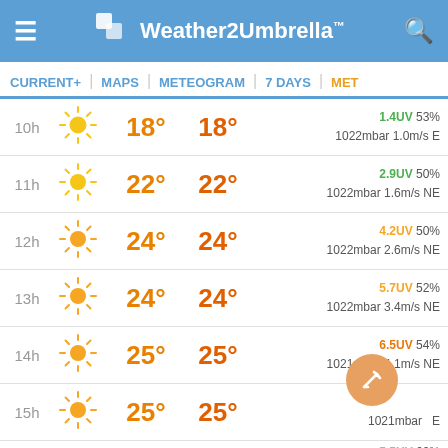Weather2Umbrella™
CURRENT+ | MAPS | METEOGRAM | 7 DAYS | MET
| Time | Icon | Temp | Feels Like | UV / Humidity / Pressure / Wind |
| --- | --- | --- | --- | --- |
| 10h | ☀ | 18° | 18° | 1.4UV 53% 1022mbar 1.0m/s E |
| 11h | ☀ | 22° | 22° | 2.9UV 50% 1022mbar 1.6m/s NE |
| 12h | ☀ | 24° | 24° | 4.2UV 50% 1022mbar 2.6m/s NE |
| 13h | ☀ | 24° | 24° | 5.7UV 52% 1022mbar 3.4m/s NE |
| 14h | ☀ | 25° | 25° | 6.5UV 54% 1021mbar 4.1m/s NE |
| 15h | ☀ | 25° | 25° | ~UV ~% 1021mbar ~m/s E |
| 16h | ☀ | ~ | ~ | 5.5UV 60% |